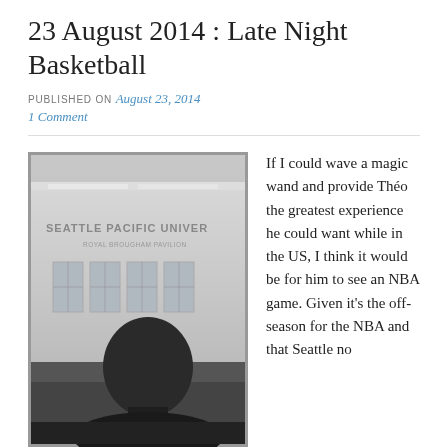23 August 2014 : Late Night Basketball
PUBLISHED ON August 23, 2014
1 Comment
[Figure (photo): Black and white photo of a person in the foreground with the Seattle Pacific University Royal Brougham Pavilion building visible in the background.]
If I could wave a magic wand and provide Théo the greatest experience he could want while in the US, I think it would be for him to see an NBA game. Given it's the off-season for the NBA and that Seattle no